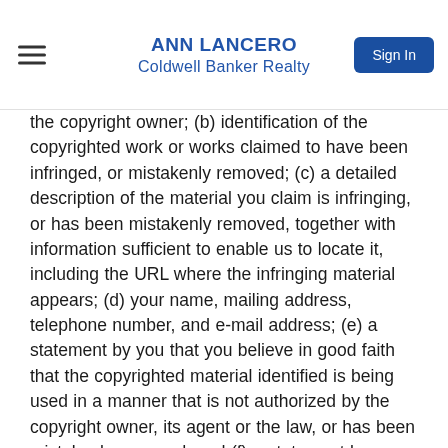ANN LANCERO
Coldwell Banker Realty
the copyright owner; (b) identification of the copyrighted work or works claimed to have been infringed, or mistakenly removed; (c) a detailed description of the material you claim is infringing, or has been mistakenly removed, together with information sufficient to enable us to locate it, including the URL where the infringing material appears; (d) your name, mailing address, telephone number, and e-mail address; (e) a statement by you that you believe in good faith that the copyrighted material identified is being used in a manner that is not authorized by the copyright owner, its agent or the law, or has been mistakenly removed; and (f) a statement by you that the above information is accurate and, under penalty of perjury, that you are authorized to act on behalf of the owner of the copyright allegedly infringed. To notify us of claimed copyright infringement, or to file a counter-notice in response to a takedown, please contact us at: DMCA Agent: DMCA Notice Manager, Attention: Legal